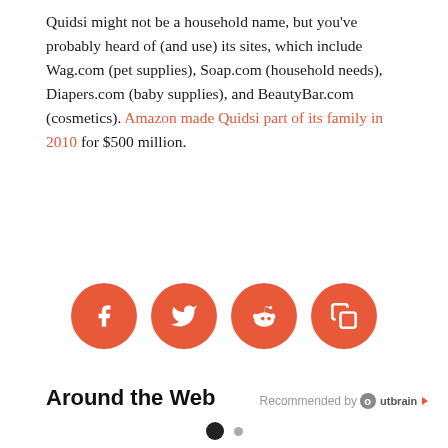Quidsi might not be a household name, but you've probably heard of (and use) its sites, which include Wag.com (pet supplies), Soap.com (household needs), Diapers.com (baby supplies), and BeautyBar.com (cosmetics). Amazon made Quidsi part of its family in 2010 for $500 million.
[Figure (infographic): Four orange circular social share buttons: Facebook (f icon), Twitter (bird icon), Reddit (alien icon), and a share/copy icon.]
Around the Web
[Figure (logo): Recommended by Outbrain logo]
[Figure (infographic): Pagination dots: one large filled dark dot and one smaller grey dot]